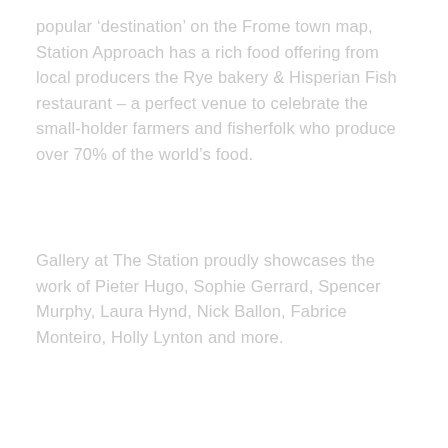popular 'destination' on the Frome town map, Station Approach has a rich food offering from local producers the Rye bakery & Hisperian Fish restaurant – a perfect venue to celebrate the small-holder farmers and fisherfolk who produce over 70% of the world's food.
Gallery at The Station proudly showcases the work of Pieter Hugo, Sophie Gerrard, Spencer Murphy, Laura Hynd, Nick Ballon, Fabrice Monteiro, Holly Lynton and more.